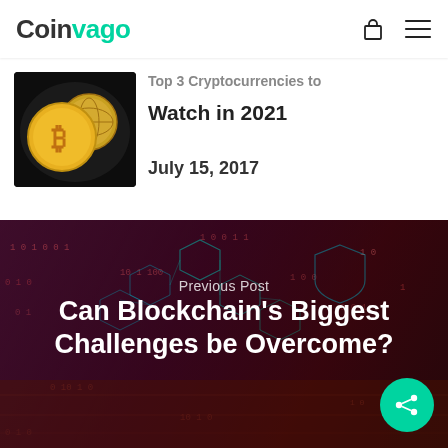Coinvago
[Figure (screenshot): Website navigation bar with Coinvago logo (Coin in dark gray, vago in teal/green), shopping bag icon, and hamburger menu icon]
[Figure (photo): Cryptocurrency coins including Bitcoin with globe coin on dark background]
Top 3 Cryptocurrencies to Watch in 2021
July 15, 2017
[Figure (photo): Dark digital blockchain background with glowing hexagonal network patterns, binary code digits in red and blue tones]
Previous Post
Can Blockchain's Biggest Challenges be Overcome?